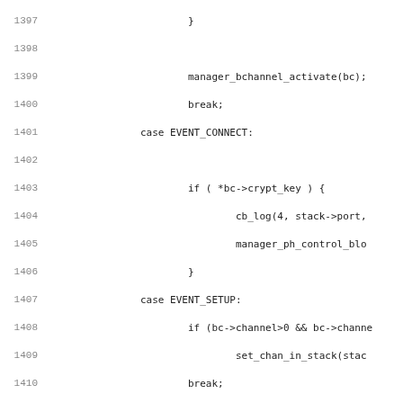Source code listing lines 1397-1428, showing C code with switch-case statements handling events EVENT_CONNECT, EVENT_SETUP, EVENT_ALERTING, EVENT_PROGRESS, EVENT_PROCEEDING, EVENT_SETUP_ACKNOWLEDGE with channel management and logging.